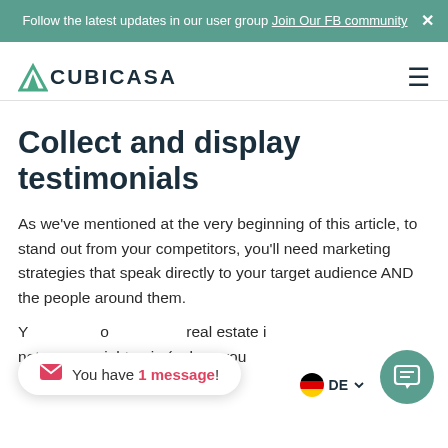Follow the latest updates in our user group Join Our FB community
[Figure (logo): CubiCasa logo with green arrow/triangle icon]
Collect and display testimonials
As we've mentioned at the very beginning of this article, to stand out from your competitors, you'll need marketing strategies that speak directly to your target audience AND the people around them.
You have 1 message!
real estate... not an overnight gain (unless you